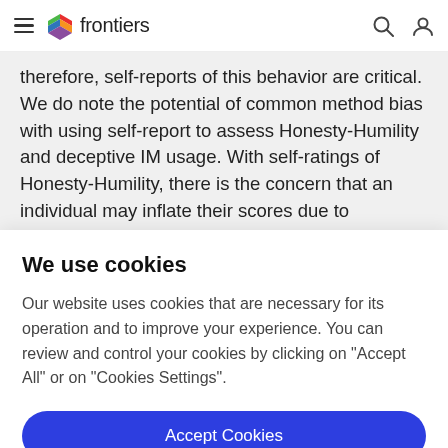frontiers
therefore, self-reports of this behavior are critical. We do note the potential of common method bias with using self-report to assess Honesty-Humility and deceptive IM usage. With self-ratings of Honesty-Humility, there is the concern that an individual may inflate their scores due to
We use cookies
Our website uses cookies that are necessary for its operation and to improve your experience. You can review and control your cookies by clicking on "Accept All" or on "Cookies Settings".
Accept Cookies
Cookies Settings